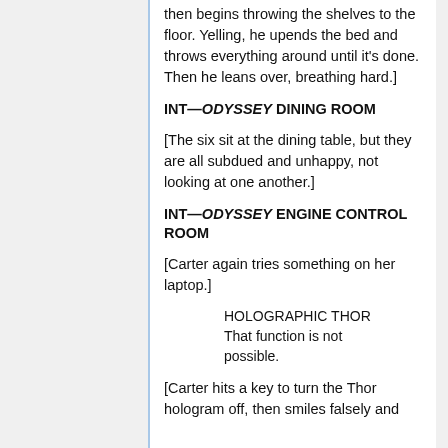then begins throwing the shelves to the floor. Yelling, he upends the bed and throws everything around until it's done. Then he leans over, breathing hard.]
INT—ODYSSEY DINING ROOM
[The six sit at the dining table, but they are all subdued and unhappy, not looking at one another.]
INT—ODYSSEY ENGINE CONTROL ROOM
[Carter again tries something on her laptop.]
HOLOGRAPHIC THOR
That function is not possible.
[Carter hits a key to turn the Thor hologram off, then smiles falsely and